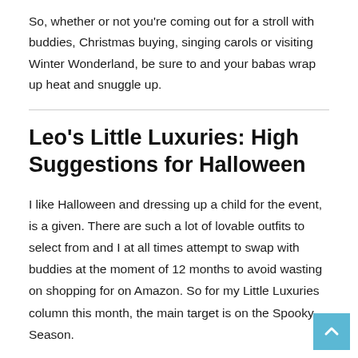So, whether or not you're coming out for a stroll with buddies, Christmas buying, singing carols or visiting Winter Wonderland, be sure to and your babas wrap up heat and snuggle up.
Leo's Little Luxuries: High Suggestions for Halloween
I like Halloween and dressing up a child for the event, is a given. There are such a lot of lovable outfits to select from and I at all times attempt to swap with buddies at the moment of 12 months to avoid wasting on shopping for on Amazon. So for my Little Luxuries column this month, the main target is on the Spooky Season.
Stella McCartney's Dalmatian